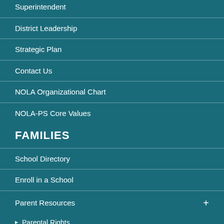Superintendent
District Leadership
Strategic Plan
Contact Us
NOLA Organizational Chart
NOLA-PS Core Values
FAMILIES
School Directory
Enroll in a School
Parent Resources +
Parental Rights